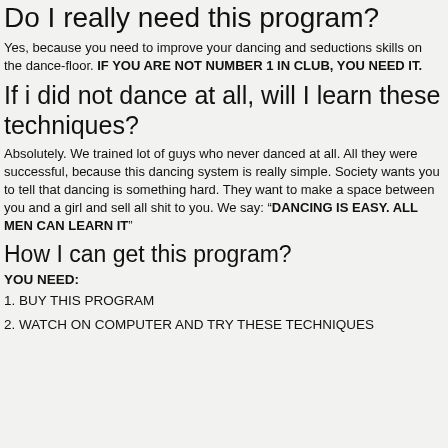Do I really need this program?
Yes, because you need to improve your dancing and seductions skills on the dance-floor. IF YOU ARE NOT NUMBER 1 IN CLUB, YOU NEED IT.
If i did not dance at all, will I learn these techniques?
Absolutely. We trained lot of guys who never danced at all. All they were successful, because this dancing system is really simple. Society wants you to tell that dancing is something hard. They want to make a space between you and a girl and sell all shit to you. We say: “DANCING IS EASY. ALL MEN CAN LEARN IT”
How I can get this program?
YOU NEED:
1. BUY THIS PROGRAM
2. WATCH ON COMPUTER AND TRY THESE TECHNIQUES